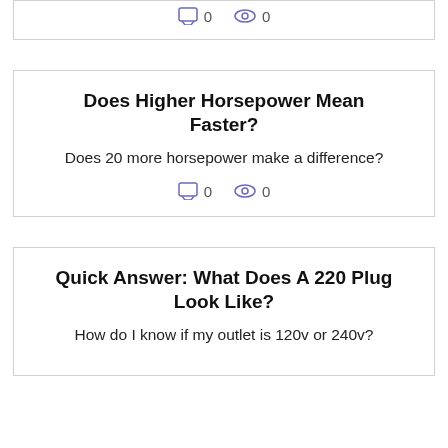0   0
Does Higher Horsepower Mean Faster?
Does 20 more horsepower make a difference?
0   0
Quick Answer: What Does A 220 Plug Look Like?
How do I know if my outlet is 120v or 240v?